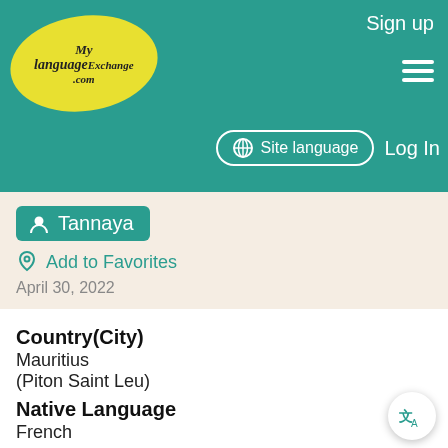[Figure (logo): MyLanguageExchange.com logo on yellow ellipse background]
Sign up  Site language  Log In
Tannaya
Add to Favorites
April 30, 2022
Country(City)
Mauritius
(Piton Saint Leu)
Native Language
French
Practicing Language
Sanskrit
Description
Bonjour Je m'appelle Tannaya, je suis professeur de yoga et passionnée par la culture indienne. Je voudrais apprendre le